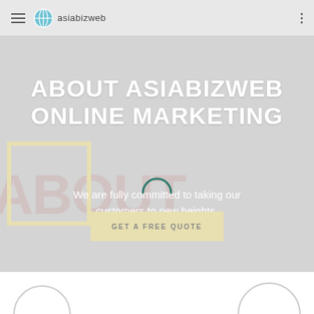asiabizweb
ABOUT ASIABIZWEB ONLINE MARKETING
We are fully committed to taking our customers to new heights.
GET A FREE QUOTE
[Figure (screenshot): Bottom white section with partial decorative arc shapes]